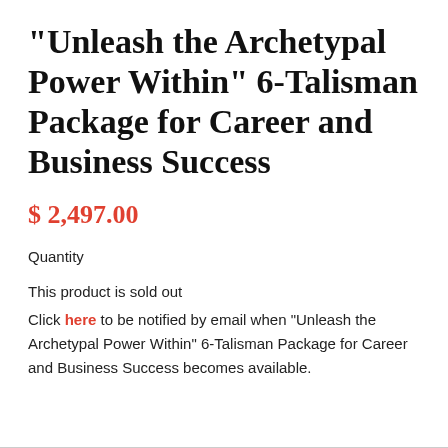"Unleash the Archetypal Power Within" 6-Talisman Package for Career and Business Success
$ 2,497.00
Quantity
This product is sold out
Click here to be notified by email when "Unleash the Archetypal Power Within" 6-Talisman Package for Career and Business Success becomes available.